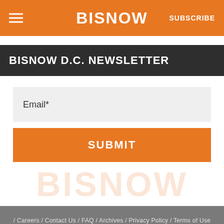BISNOW  SUBSCRIBE
BISNOW D.C. NEWSLETTER
Email*
SUBMIT
/ Careers / Contact Us / FAQ / Archives / Privacy Policy / Terms of Use